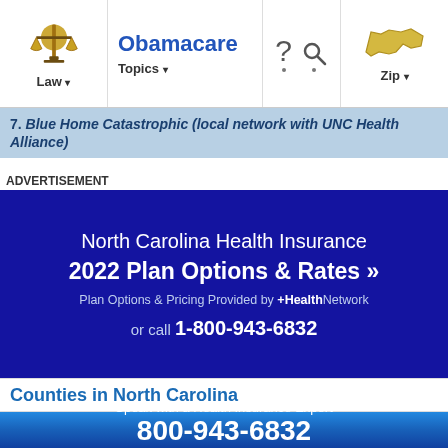Law ▾  Obamacare Topics ▾  ? ▾  🔍 ▾  Zip ▾
7. Blue Home Catastrophic (local network with UNC Health Alliance)
ADVERTISEMENT
[Figure (infographic): Dark blue advertisement banner for North Carolina Health Insurance 2022 Plan Options & Rates. Text: 'North Carolina Health Insurance', '2022 Plan Options & Rates »', 'Plan Options & Pricing Provided by +HealthNetwork', 'or call 1-800-943-6832']
Counties in North Carolina
[Figure (infographic): Blue gradient banner: 'Speak with a Health Insurance Expert', '800-943-6832', 'Ads by +HealthNetwork']